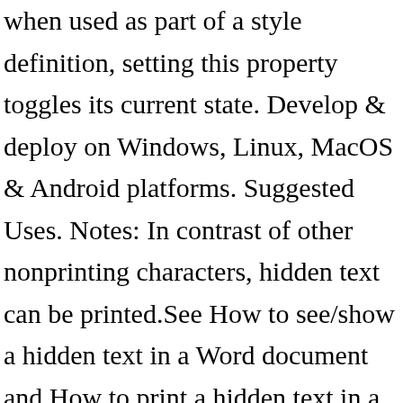when used as part of a style definition, setting this property toggles its current state. Develop & deploy on Windows, Linux, MacOS & Android platforms. Suggested Uses. Notes: In contrast of other nonprinting characters, hidden text can be printed.See How to see/show a hidden text in a Word document and How to print a hidden text in a Word document. For a list of the different types of hidden data and personal information that the Document Inspector can find and remove from Word documents, review the following table. To do this:- 1. Instructions in this article apply to